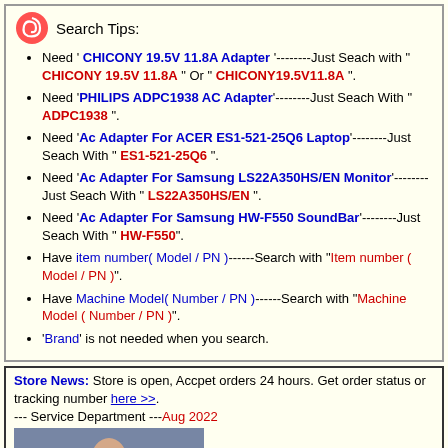Search Tips:
Need ' CHICONY 19.5V 11.8A Adapter '--------Just Seach with " CHICONY 19.5V 11.8A " Or " CHICONY19.5V11.8A ".
Need 'PHILIPS ADPC1938 AC Adapter'--------Just Seach With " ADPC1938 ".
Need 'Ac Adapter For ACER ES1-521-25Q6 Laptop'--------Just Seach With " ES1-521-25Q6 ".
Need 'Ac Adapter For Samsung LS22A350HS/EN Monitor'--------Just Seach With " LS22A350HS/EN ".
Need 'Ac Adapter For Samsung HW-F550 SoundBar'--------Just Seach With " HW-F550".
Have item number( Model / PN )------Search with "Item number ( Model / PN )".
Have Machine Model( Number / PN )------Search with "Machine Model ( Number / PN )".
'Brand' is not needed when you search.
Store News: Store is open, Accpet orders 24 hours. Get order status or tracking number here >>.
--- Service Department ---Aug 2022
[Figure (photo): Person holding an OPEN sign]
Hot Brand AC Adapter  Acer  APD  Apple  ASUS
AOC  BENQ  Chicony  CWT  Daiing  Dell